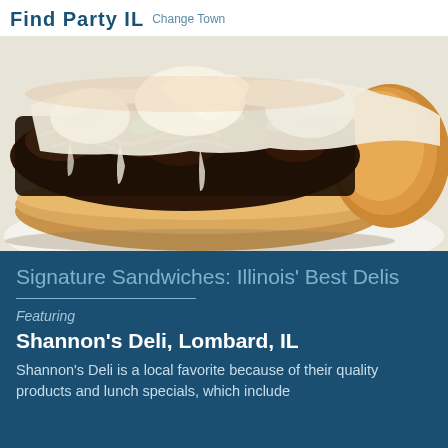Find Party IL Change Town
[Figure (photo): Close-up photo of a Philly cheesesteak style sandwich on a hoagie roll, topped with melted white cheese, grilled beef, green peppers, and onions, served on a white plate.]
Signature Sandwiches: Illinois' Best Delis
Featuring
Shannon's Deli, Lombard, IL
Shannon's Deli is a local favorite because of their quality products and lunch specials, which include